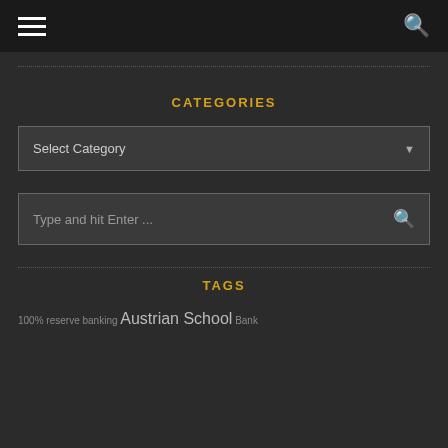Navigation bar with hamburger menu and search icon
CATEGORIES
Select Category
Type and hit Enter ...
TAGS
100% reserve banking Austrian School Bank